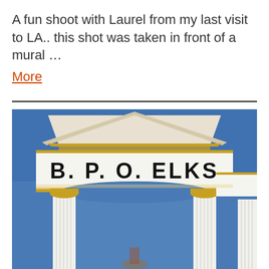A fun shoot with Laurel from my last visit to LA.. this shot was taken in front of a mural … More
[Figure (photo): Photograph of the front facade of a B. P. O. Elks building, showing a white Greek Revival structure with a triangular pediment, gold decorative trim, white fluted columns with gold Ionic capitals, and a white entablature bearing the text 'B. P. O. ELKS' in large black letters. The background is a clear blue sky.]